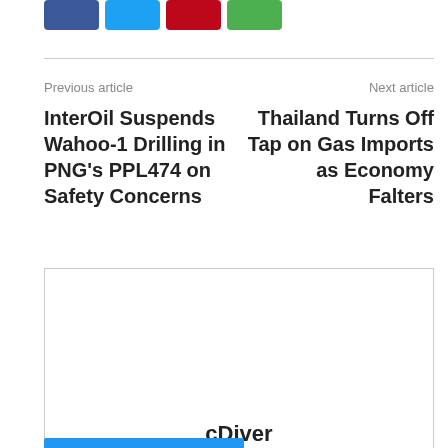[Figure (other): Social sharing buttons: Facebook (blue), Twitter (cyan), Pinterest (red), WhatsApp (green)]
Previous article
InterOil Suspends Wahoo-1 Drilling in PNG’s PPL474 on Safety Concerns
Next article
Thailand Turns Off Tap on Gas Imports as Economy Falters
[Figure (other): Advertisement box with centered bold text 'cDiver']
[Figure (other): Blue button/bar partially visible at bottom]